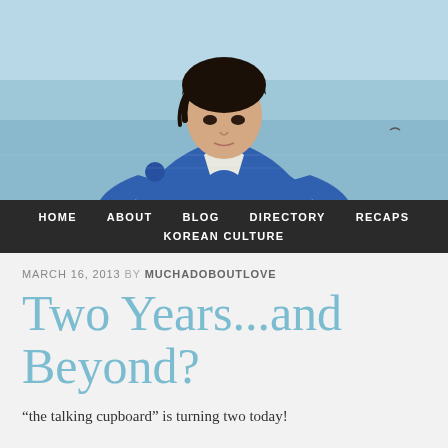[Figure (photo): A young man wearing a blue and white Korean traditional hanbok garment, with dark hair, leaning forward slightly. Background is a blurred water scene.]
HOME   ABOUT   BLOG   DIRECTORY   RECAPS   KOREAN CULTURE
MARCH 16, 2013 BY MUCHADOBOUTLOVE
Two Years...and Beyond?
“the talking cupboard” is turning two today!